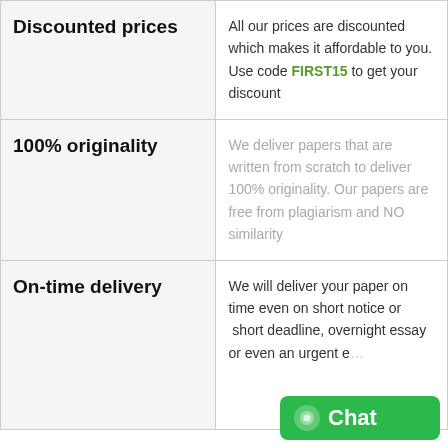Discounted prices
All our prices are discounted which makes it affordable to you. Use code FIRST15 to get your discount
100% originality
We deliver papers that are written from scratch to deliver 100% originality. Our papers are free from plagiarism and NO similarity
On-time delivery
We will deliver your paper on time even on short notice or short deadline, overnight essay or even an urgent e...